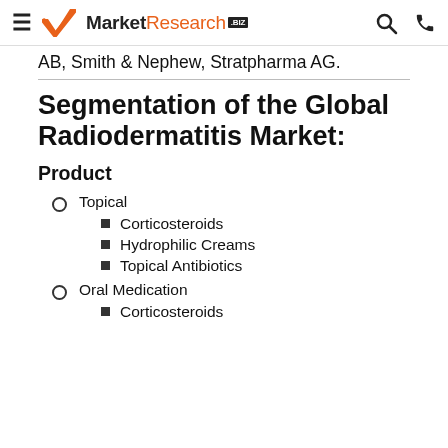MarketResearch.BIZ
AB, Smith & Nephew, Stratpharma AG.
Segmentation of the Global Radiodermatitis Market:
Product
Topical
Corticosteroids
Hydrophilic Creams
Topical Antibiotics
Oral Medication
Corticosteroids